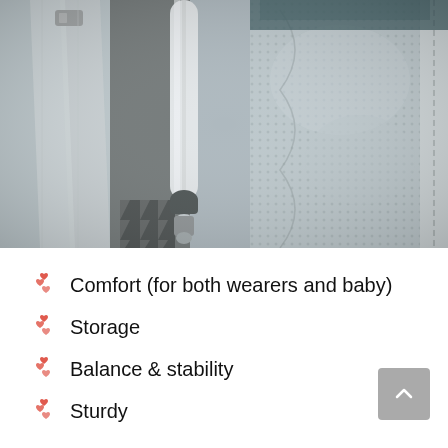[Figure (photo): Close-up photo of a hiking/child carrier backpack showing straps, mesh padding, and a trekking pole holder with a pole inserted.]
Comfort (for both wearers and baby)
Storage
Balance & stability
Sturdy